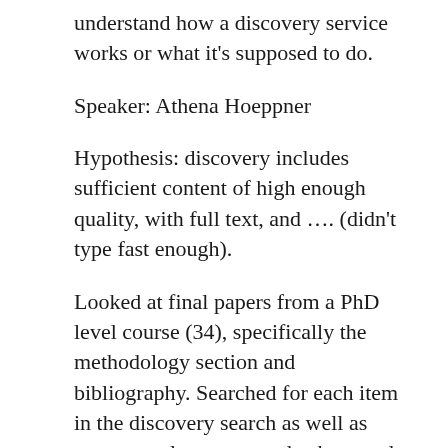understand how a discovery service works or what it's supposed to do.
Speaker: Athena Hoeppner
Hypothesis: discovery includes sufficient content of high enough quality, with full text, and …. (didn't type fast enough).
Looked at final papers from a PhD level course (34), specifically the methodology section and bibliography. Searched for each item in the discovery search as well as one general aggregator database and two subject‑specific databases. The works cited were predominately articles, with a significant number of web